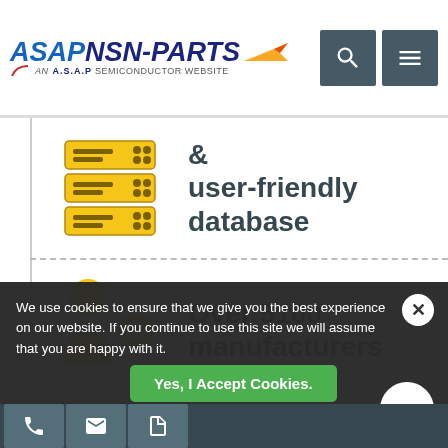[Figure (logo): ASAP NSN-PARTS logo with airplane icon, subtitle: AN A.S.A.P SEMICONDUCTOR WEBSITE]
[Figure (illustration): Server/database rack icon in yellow and dark gray]
& user-friendly database
[Figure (illustration): Person with gear icon in yellow]
Over 5100 manufacturers
We use cookies to ensure that we give you the best experience on our website. If you continue to use this site we will assume that you are happy with it.
Yes, I Accept Cookies.